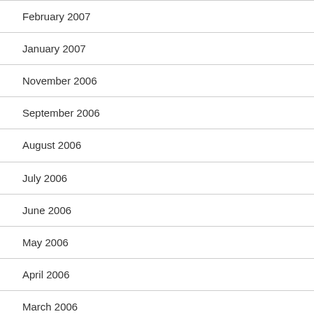February 2007
January 2007
November 2006
September 2006
August 2006
July 2006
June 2006
May 2006
April 2006
March 2006
February 2006